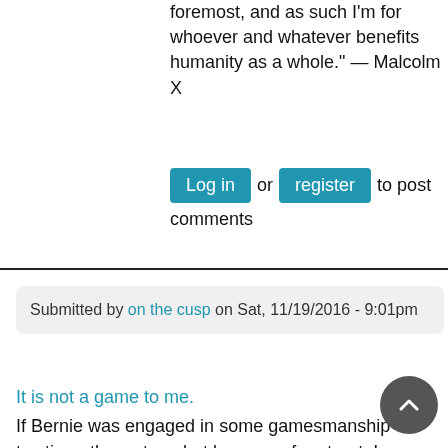foremost, and as such I'm for whoever and whatever benefits humanity as a whole." — Malcolm X
Log in or register to post comments
Submitted by on the cusp on Sat, 11/19/2016 - 9:01pm
It is not a game to me.
If Bernie was engaged in some gamesmanship to stir up the waters, but have a safe retreat, I would have appreciated him saying so.